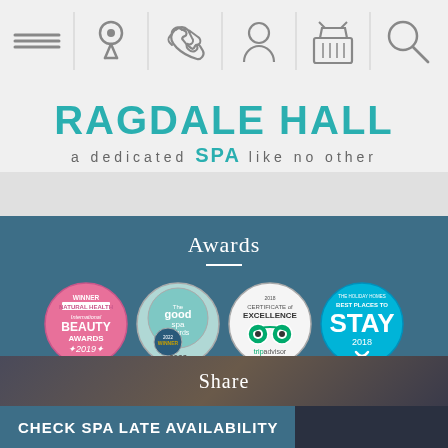[Figure (screenshot): Navigation bar with hamburger menu, location pin, phone, person, basket, and search icons]
RAGDALE HALL SPA
a dedicated SPA like no other
[Figure (infographic): Four award badges: Natural Health International Beauty Awards 2019 (pink), Good Spa Awards 2022 (teal/silver), TripAdvisor Certificate of Excellence 2018, and The Holiday Homes Best Places to Stay 2018 (blue)]
Awards
Share
CHECK SPA LATE AVAILABILITY